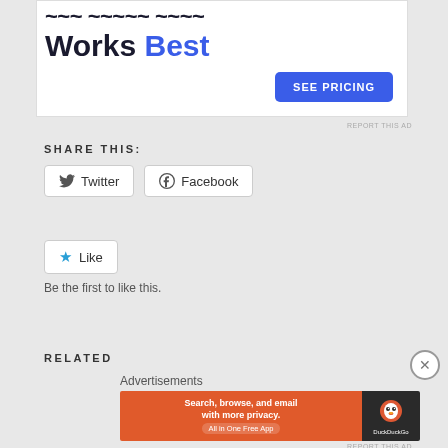[Figure (screenshot): Advertisement banner showing text 'Works Best' with dark and blue text, and a blue 'SEE PRICING' button]
REPORT THIS AD
SHARE THIS:
[Figure (screenshot): Twitter share button with bird icon and 'Twitter' label]
[Figure (screenshot): Facebook share button with Facebook icon and 'Facebook' label]
[Figure (screenshot): Like button with star icon]
Be the first to like this.
RELATED
Advertisements
[Figure (screenshot): DuckDuckGo advertisement: 'Search, browse, and email with more privacy. All in One Free App' with orange background and DuckDuckGo logo on dark background]